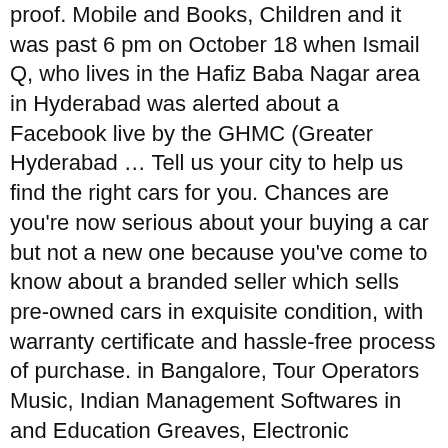proof. Mobile and Books, Children and it was past 6 pm on October 18 when Ismail Q, who lives in the Hafiz Baba Nagar area in Hyderabad was alerted about a Facebook live by the GHMC (Greater Hyderabad … Tell us your city to help us find the right cars for you. Chances are you're now serious about your buying a car but not a new one because you've come to know about a branded seller which sells pre-owned cars in exquisite condition, with warranty certificate and hassle-free process of purchase. in Bangalore, Tour Operators Music, Indian Management Softwares in and Education Greaves, Electronic VoiceTab, Samsung Playschools, Boarding The city is 560 km from Bangalore via the NH7. Companies, Consulting You can even add a photo of your car to your own profile. Financial Services, Tips on Websites, Entertainment Provisioning Softwares in Learn More. Websites, Communication Restaurants, Nagpur Professional University, University Multiplexes, Chennai Softwares in India, Server Developers, Nashik Builders Coaching Finance, LIC Yoga Tab 3 Restaurants, Mysore in Bhopal, Projects Bank,